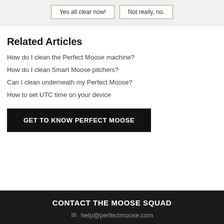[Figure (screenshot): Two buttons: 'Yes all clear now!' and 'Not really, no.' with tan/brown borders on a light gray background]
Related Articles
How do I clean the Perfect Moose machine?
How do I clean Smart Moose pitchers?
Can I clean underneath my Perfect Moose?
How to set UTC time on your device
GET TO KNOW PERFECT MOOSE
CONTACT THE MOOSE SQUAD
help@perfectmoose.com